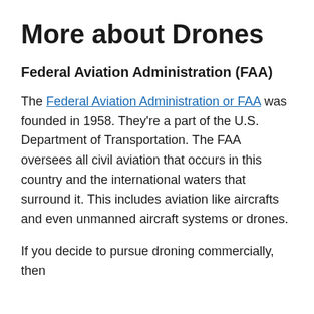More about Drones
Federal Aviation Administration (FAA)
The Federal Aviation Administration or FAA was founded in 1958. They're a part of the U.S. Department of Transportation. The FAA oversees all civil aviation that occurs in this country and the international waters that surround it. This includes aviation like aircrafts and even unmanned aircraft systems or drones.
If you decide to pursue droning commercially, then